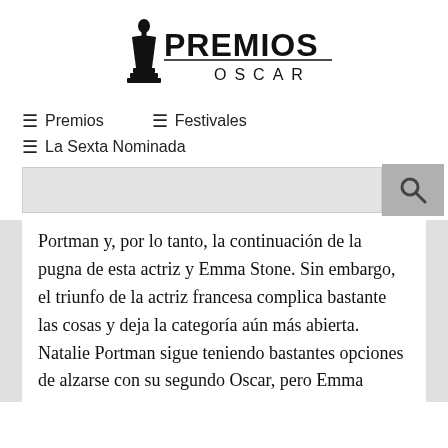[Figure (logo): Premios Oscar logo with Oscar statuette silhouette and bold text 'PREMIOS OSCAR']
☰ Premios   ☰ Festivales
☰ La Sexta Nominada
Portman y, por lo tanto, la continuación de la pugna de esta actriz y Emma Stone. Sin embargo, el triunfo de la actriz francesa complica bastante las cosas y deja la categoría aún más abierta. Natalie Portman sigue teniendo bastantes opciones de alzarse con su segundo Oscar, pero Emma